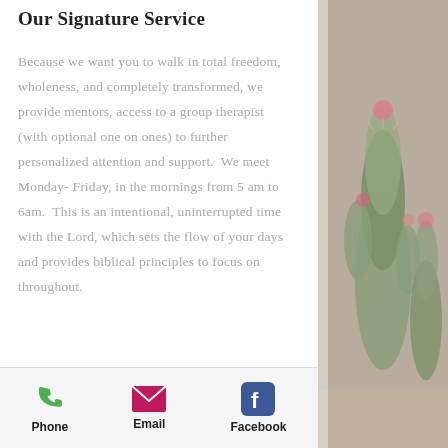Our Signature Service
Because we want you to walk in total freedom, wholeness, and completely transformed, we provide mentors, access to a group therapist (with optional one on ones) to further personalized attention and support.  We meet Monday- Friday, in the mornings from 5 am to 6am.  This is an intentional, uninterrupted time with the Lord, which sets the flow of your days and provides biblical principles to focus on throughout.
[Figure (infographic): Footer with three icons: green phone icon labeled Phone, pink/magenta email envelope icon labeled Email, blue Facebook icon labeled Facebook]
[Figure (photo): Cactus plants photo on the right side of the page, showing colorful cacti with pink flowers]